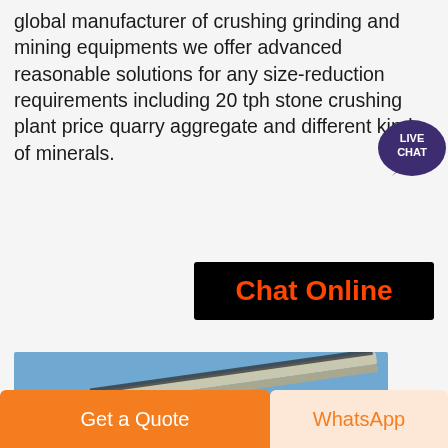global manufacturer of crushing grinding and mining equipments we offer advanced reasonable solutions for any size-reduction requirements including 20 tph stone crushing plant price quarry aggregate and different kinds of minerals.
[Figure (other): Live Chat speech bubble badge with dark purple color and white text reading LIVE CHAT]
[Figure (other): Black button with orange/red text reading Chat Online]
[Figure (photo): Industrial mining/crushing plant with conveyor belts and heavy machinery against a blue sky background]
[Figure (other): Orange button labeled Get a Quote at the bottom left]
[Figure (other): Light orange/peach button labeled WhatsApp at the bottom right]